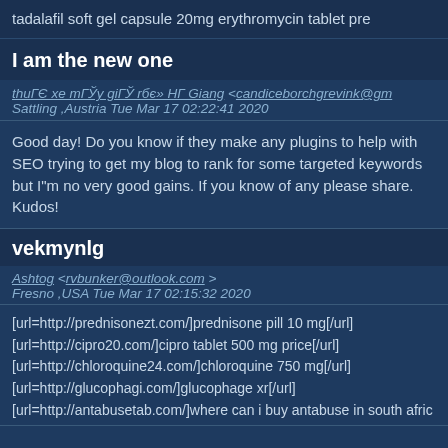tadalafil soft gel capsule 20mg erythromycin tablet pre
I am the new one
thuГЄ xe mГЎy giГЎ rбє» НГ Giang <candiceborchgrevink@gm... Sattling ,Austria Tue Mar 17 02:22:41 2020
Good day! Do you know if they make any plugins to help with SEO trying to get my blog to rank for some targeted keywords but I"m no very good gains. If you know of any please share. Kudos!
vekmynlg
Ashtog <rvbunker@outlook.com > Fresno ,USA Tue Mar 17 02:15:32 2020
[url=http://prednisonezt.com/]prednisone pill 10 mg[/url]
[url=http://cipro20.com/]cipro tablet 500 mg price[/url]
[url=http://chloroquine24.com/]chloroquine 750 mg[/url]
[url=http://glucophagi.com/]glucophage xr[/url]
[url=http://antabusetab.com/]where can i buy antabuse in south afric